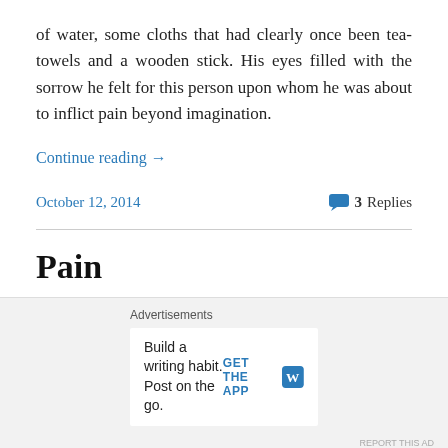of water, some cloths that had clearly once been tea-towels and a wooden stick. His eyes filled with the sorrow he felt for this person upon whom he was about to inflict pain beyond imagination.
Continue reading →
October 12, 2014
3 Replies
Pain
Continued from Blood spurted from the ripped flesh.  If you have just joined this story and wish to start from the
Advertisements
Build a writing habit. Post on the go.
GET THE APP
REPORT THIS AD